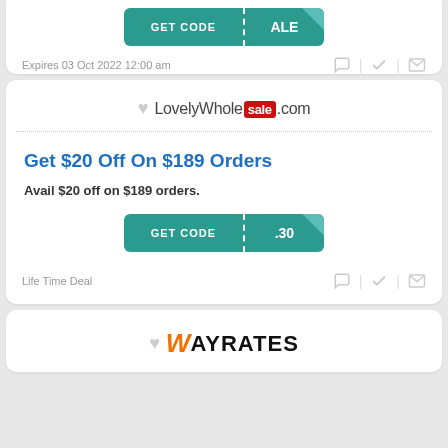[Figure (screenshot): GET CODE button with partial ALE text on teal background]
Expires 03 Oct 2022 12:00 am
[Figure (logo): LovelyWholesale.com logo with heart icon]
Get $20 Off On $189 Orders
Avail $20 off on $189 orders.
[Figure (screenshot): GET CODE button with .30 text on teal background]
Life Time Deal
[Figure (logo): WAYRATES logo with heart icon and orange W]